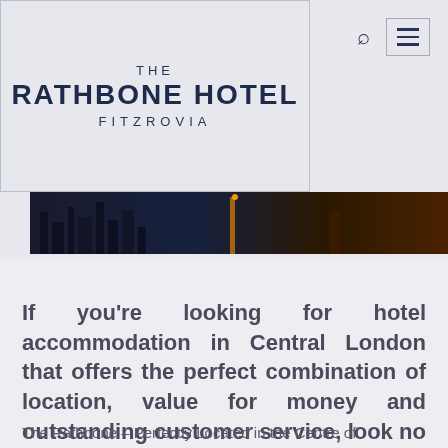[Figure (screenshot): The Rathbone Hotel Fitzrovia logo header with cityscape background image]
THE RATHBONE HOTEL FITZROVIA
If you’re looking for hotel accommodation in Central London that offers the perfect combination of location, value for money and outstanding customer service, look no further than the Rathbone.
The Rathbone – Perfectly Located in the Centre of